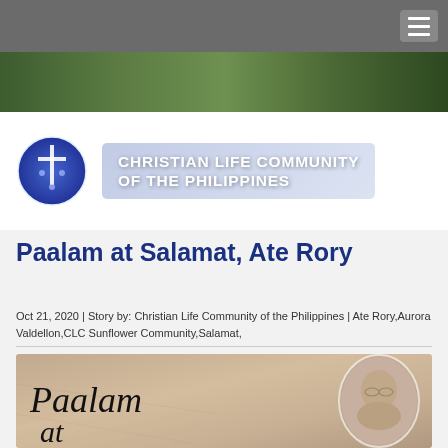[Figure (logo): Christian Life Community of the Philippines logo — circular blue emblem with cross/lighthouse symbol, beside white bold text reading CHRISTIAN LIFE COMMUNITY OF THE PHILIPPINES]
Paalam at Salamat, Ate Rory
Oct 21, 2020 | Story by: Christian Life Community of the Philippines | Ate Rory,Aurora Valdellon,CLC Sunflower Community,Salamat,
[Figure (photo): Sepia-toned image with cursive script text reading 'Paalam' overlaid on a photo of an elderly woman smiling, shown in an oval portrait frame]